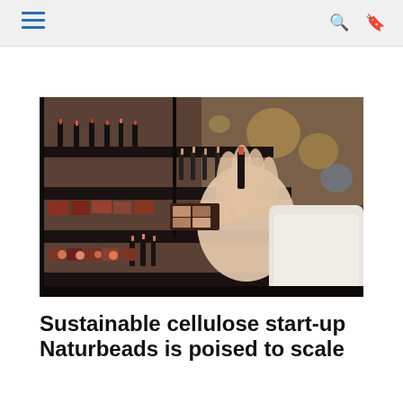Navigation bar with hamburger menu and search/bookmark icons
[Figure (photo): Person browsing a cosmetics display shelf with rows of lipsticks and makeup products in dark packaging at a retail store]
Sustainable cellulose start-up Naturbeads is poised to scale